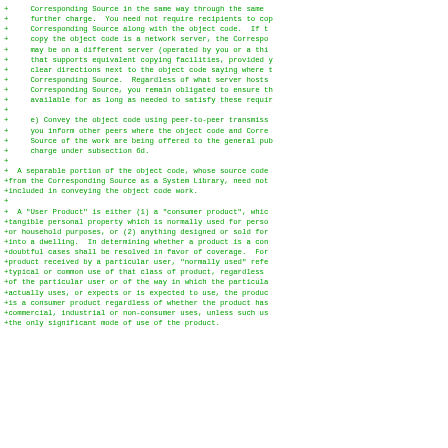+     Corresponding Source in the same way through the same
+     further charge.  You need not require recipients to cop
+     Corresponding Source along with the object code.  If t
+     copy the object code is a network server, the Correspo
+     may be on a different server (operated by you or a thi
+     that supports equivalent copying facilities, provided y
+     clear directions next to the object code saying where t
+     Corresponding Source.  Regardless of what server hosts
+     Corresponding Source, you remain obligated to ensure th
+     available for as long as needed to satisfy these requir
+
+     e) Convey the object code using peer-to-peer transmiss
+     you inform other peers where the object code and Corre
+     Source of the work are being offered to the general pub
+     charge under subsection 6d.
+
+  A separable portion of the object code, whose source code
+from the Corresponding Source as a System Library, need not
+included in conveying the object code work.
+
+  A "User Product" is either (1) a "consumer product", whi
+tangible personal property which is normally used for pers
+or household purposes, or (2) anything designed or sold for
+into a dwelling.  In determining whether a product is a cor
+doubtful cases shall be resolved in favor of coverage.  For
+product received by a particular user, "normally used" refe
+typical or common use of that class of product, regardless
+of the particular user or of the way in which the particula
+actually uses, or expects or is expected to use, the produ
+is a consumer product regardless of whether the product has
+commercial, industrial or non-consumer uses, unless such us
+the only significant mode of use of the product.